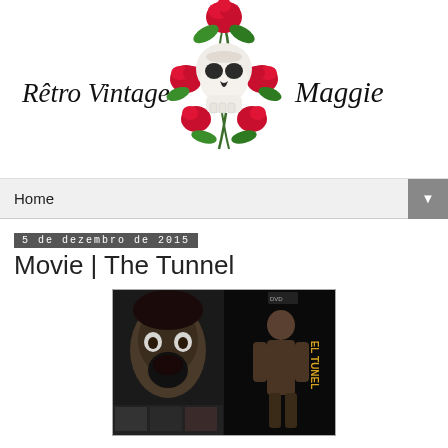[Figure (logo): Retro Vintage Maggie blog header with skull and roses illustration, cursive text 'Rêtro Vintage' on left and 'Maggie' on right]
Home
5 de dezembro de 2015
Movie | The Tunnel
[Figure (photo): DVD cover of 'El Tunel' (The Tunnel) movie showing a screaming face on the left side and a shirtless person on the right, dark horror movie imagery]